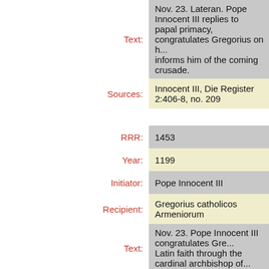| Field | Value |
| --- | --- |
| Text: | Nov. 23. Lateran. Pope Innocent III replies to papal primacy, congratulates Gregorius on h... informs him of the coming crusade. |
| Sources: | Innocent III, Die Register 2:406-8, no. 209 |
| RRR: | 1453 |
| Year: | 1199 |
| Initiator: | Pope Innocent III |
| Recipient: | Gregorius catholicos Armeniorum |
| Text: | Nov. 23. Pope Innocent III congratulates Gre... Latin faith through the cardinal archbishop of... |
| Sources: | Innocent III, Die Register 2:406-8, no. 209 (R... |
| RRR: | 1454 |
| Year: | 1199 |